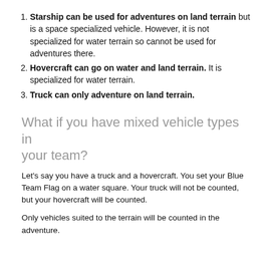Starship can be used for adventures on land terrain but is a space specialized vehicle. However, it is not specialized for water terrain so cannot be used for adventures there.
Hovercraft can go on water and land terrain. It is specialized for water terrain.
Truck can only adventure on land terrain.
What if you have mixed vehicle types in your team?
Let's say you have a truck and a hovercraft. You set your Blue Team Flag on a water square. Your truck will not be counted, but your hovercraft will be counted.
Only vehicles suited to the terrain will be counted in the adventure.